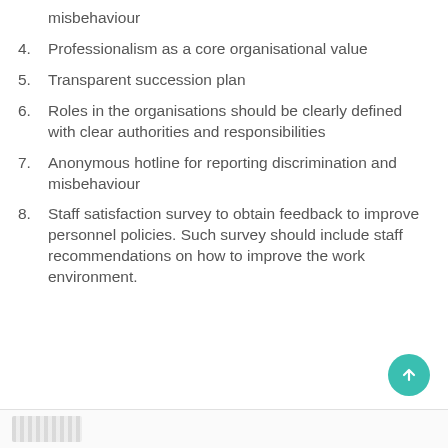misbehaviour
4. Professionalism as a core organisational value
5. Transparent succession plan
6. Roles in the organisations should be clearly defined with clear authorities and responsibilities
7. Anonymous hotline for reporting discrimination and misbehaviour
8. Staff satisfaction survey to obtain feedback to improve personnel policies. Such survey should include staff recommendations on how to improve the work environment.
[Figure (photo): Footer area with partial image strip at bottom of page]